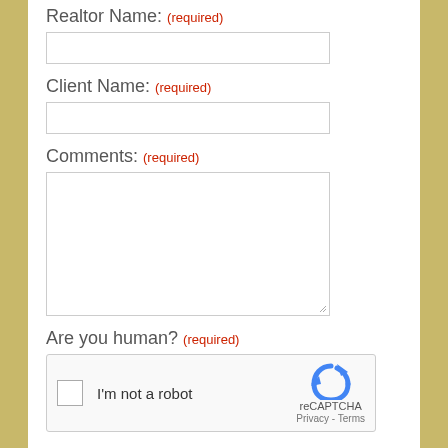Realtor Name: (required)
Client Name: (required)
Comments: (required)
Are you human? (required)
[Figure (other): reCAPTCHA widget with checkbox 'I'm not a robot' and reCAPTCHA logo, Privacy - Terms links]
Send